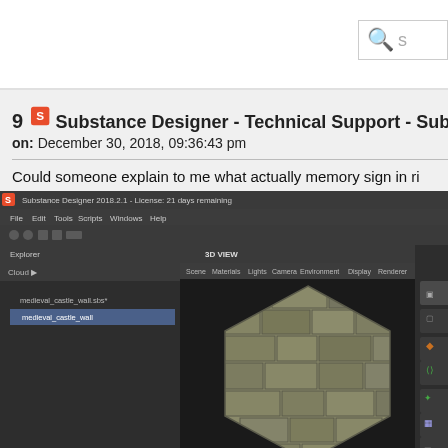Substance Designer - Technical Support - Substance D
9  Substance Designer - Technical Support - Substance D
on: December 30, 2018, 09:36:43 pm
Could someone explain to me what actually memory sign in ri
[Figure (screenshot): Screenshot of Substance Designer 2018.2.1 application showing the 3D VIEW panel with a hexagonal stone/brick texture material preview (medieval castle wall). The left panel shows a file tree with 'medieval_castle_wall.sbs' and 'medieval_castle_wall' node.]